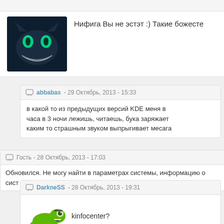[Figure (photo): Cheshire cat avatar — dark fantasy illustration with glowing green eyes and wide smile]
Нифига Вы не эстэт :) Такие божесте
abbabas - 29 Октябрь, 2013 - 15:33
в какой то из предыдущих версий KDE меня в часа в 3 ночи лежишь, читаешь, бука заряжает каким то страшным звуком выпрыгивает месага
Гость - 28 Октябрь, 2013 - 17:03
Обновился. Не могу найти в параметрах системы, информацию о сист
DarkneSS - 28 Октябрь, 2013 - 19:31
[Figure (illustration): Green chameleon/gecko with troll face meme overlay]
kinfocenter?